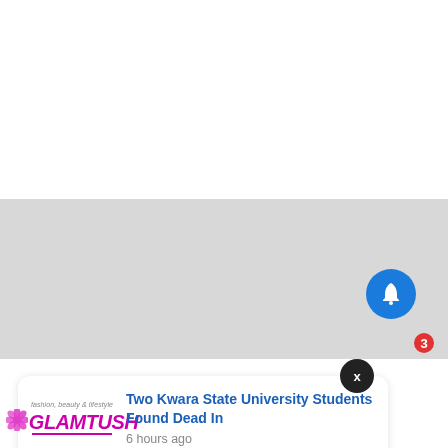Related
First Virtual Google For Startups Class Graduates
September 11, 2020
In "Career"
Applications Open For Second Cohort Of Google For Startups Black Founders Fund For Africa
May 18, 2022
[Figure (screenshot): Notification popup with GLAMTUSH logo showing headline: Two Kwara State University Students Found Dead In, 6 hours ago]
[Figure (screenshot): Blue bell icon button with red badge showing count 3]